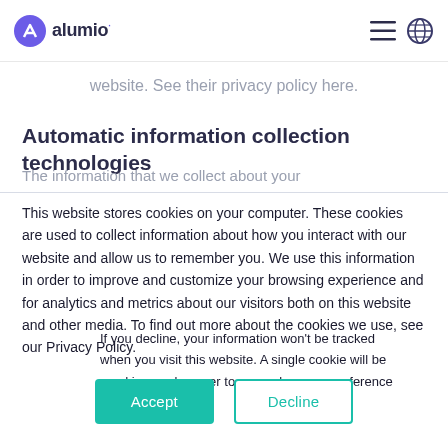alumio
website. See their privacy policy here.
Automatic information collection technologies
The information that we collect about your
This website stores cookies on your computer. These cookies are used to collect information about how you interact with our website and allow us to remember you. We use this information in order to improve and customize your browsing experience and for analytics and metrics about our visitors both on this website and other media. To find out more about the cookies we use, see our Privacy Policy.
If you decline, your information won't be tracked when you visit this website. A single cookie will be used in your browser to remember your preference not to be tracked.